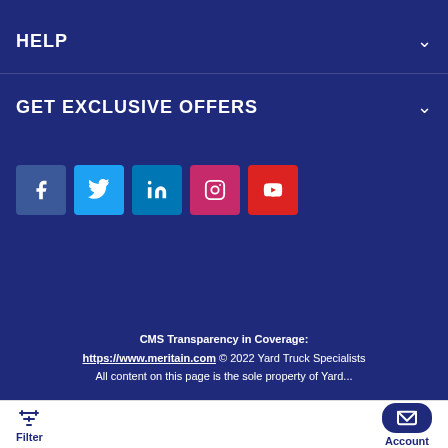HELP
GET EXCLUSIVE OFFERS
[Figure (infographic): Row of five social media icon buttons: Facebook (blue), Twitter (light blue), LinkedIn (dark blue), Instagram (pink/red), YouTube (red)]
CMS Transparency in Coverage: https://www.meritain.com © 2022 Yard Truck Specialists All content on this page is the sole property of Yard...
Filter | Account